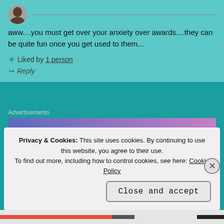[Figure (photo): User avatar photo cropped at top with horizontal line]
aww....you must get over your anxiety over awards....they can be quite fun once you get used to them...
★ Liked by 1 person
↪ Reply
Advertisements
[Figure (screenshot): WordPress.com advertisement banner: Simplified pricing for everything you need.]
Privacy & Cookies: This site uses cookies. By continuing to use this website, you agree to their use. To find out more, including how to control cookies, see here: Cookie Policy
Close and accept